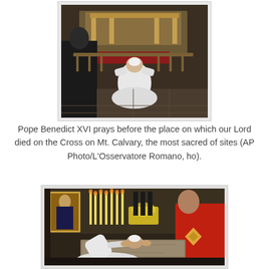[Figure (photo): Pope Benedict XVI kneeling in prayer from behind at an ornate altar at Mt. Calvary. He is dressed in white papal vestments. The church interior shows decorative stone and gilded elements.]
Pope Benedict XVI prays before the place on which our Lord died on the Cross on Mt. Calvary, the most sacred of sites (AP Photo/L'Osservatore Romano, ho).
[Figure (photo): Pope Benedict XVI bowing deeply and pressing his head to a stone slab, dressed in white vestments. Behind him are candles and a Byzantine-style icon painting. A figure in red vestments is partially visible to the right.]